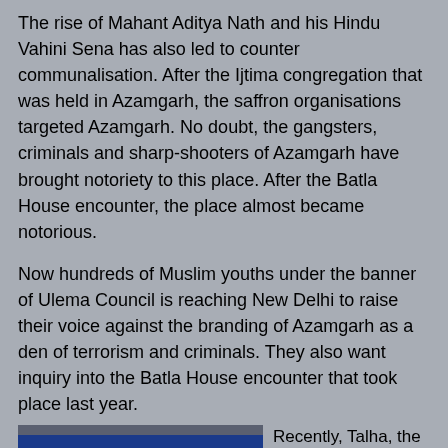The rise of Mahant Aditya Nath and his Hindu Vahini Sena has also led to counter communalisation. After the Ijtima congregation that was held in Azamgarh, the saffron organisations targeted Azamgarh. No doubt, the gangsters, criminals and sharp-shooters of Azamgarh have brought notoriety to this place. After the Batla House encounter, the place almost became notorious.
Now hundreds of Muslim youths under the banner of Ulema Council is reaching New Delhi to raise their voice against the branding of Azamgarh as a den of terrorism and criminals. They also want inquiry into the Batla House encounter that took place last year.
[Figure (photo): Photo of a blue train car with Hindi text and 'N.E. 99207' markings, with people standing in front of it.]
Recently, Talha, the son of Maulana Amir Rashdi Madani, was arrested in Nagpur. Midway on the train journey he was detained and taken